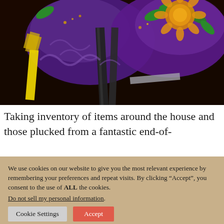[Figure (photo): Close-up photo of colorful Mardi Gras masks or decorations with purple, green, gold/yellow glitter and ornate designs, with dark leather straps visible, on a dark wooden surface.]
Taking inventory of items around the house and those plucked from a fantastic end-of-
We use cookies on our website to give you the most relevant experience by remembering your preferences and repeat visits. By clicking “Accept”, you consent to the use of ALL the cookies. Do not sell my personal information.